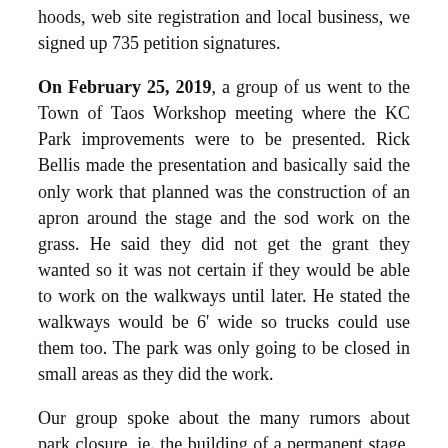hoods, web site registration and local business, we signed up 735 petition signatures.
On February 25, 2019, a group of us went to the Town of Taos Workshop meeting where the KC Park improvements were to be presented. Rick Bellis made the presentation and basically said the only work that planned was the construction of an apron around the stage and the sod work on the grass. He said they did not get the grant they wanted so it was not certain if they would be able to work on the walkways until later. He stated the walkways would be 6' wide so trucks could use them too. The park was only going to be closed in small areas as they did the work.
Our group spoke about the many rumors about park closure, ie. the building of a permanent stage, the moving of the stage to the ball park area, etc. One member spoke about the noise from the large music events that went on late in the night and the music